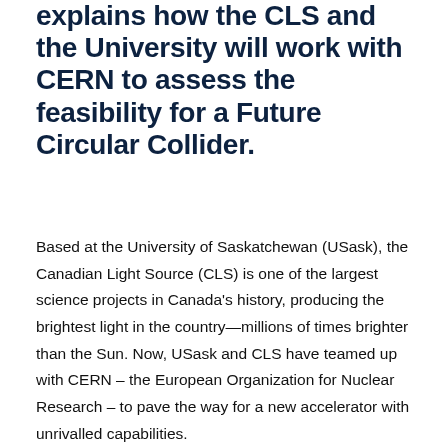explains how the CLS and the University will work with CERN to assess the feasibility for a Future Circular Collider.
Based at the University of Saskatchewan (USask), the Canadian Light Source (CLS) is one of the largest science projects in Canada's history, producing the brightest light in the country—millions of times brighter than the Sun. Now, USask and CLS have teamed up with CERN – the European Organization for Nuclear Research – to pave the way for a new accelerator with unrivalled capabilities.